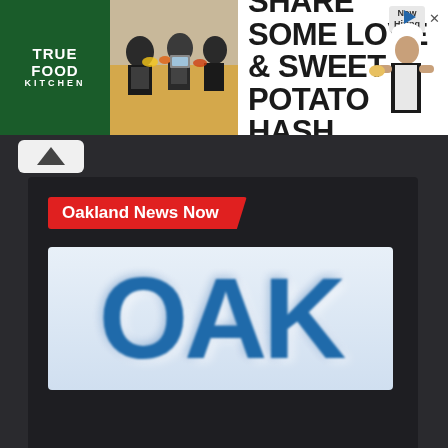[Figure (screenshot): Advertisement banner for True Food Kitchen: 'Share Some Love & Sweet Potato Hash.' with Now Hiring badge and chef image]
[Figure (logo): Oakland News Now logo showing 'OAK' in large blue letters on light background]
Oakland News Now